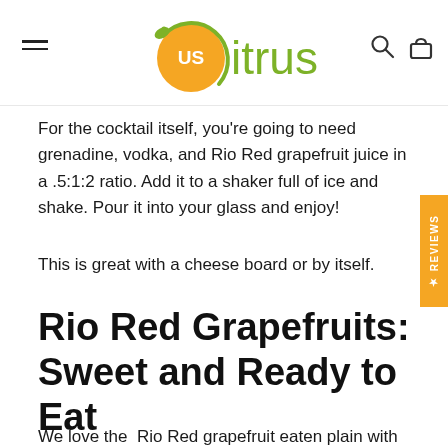US Citrus logo header with navigation hamburger menu, search icon, and bag icon
For the cocktail itself, you're going to need grenadine, vodka, and Rio Red grapefruit juice in a .5:1:2 ratio. Add it to a shaker full of ice and shake. Pour it into your glass and enjoy!
This is great with a cheese board or by itself.
Rio Red Grapefruits: Sweet and Ready to Eat
We love the  Rio Red grapefruit eaten plain with